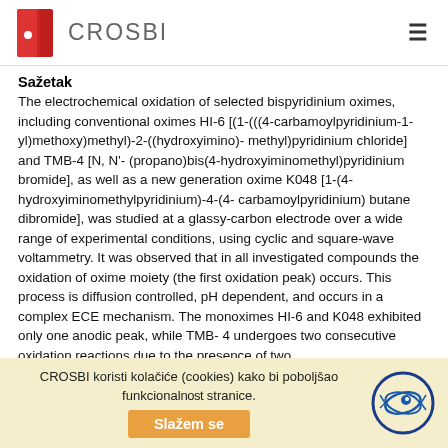CROSBI
Sažetak
The electrochemical oxidation of selected bispyridinium oximes, including conventional oximes HI-6 [(1-(((4-carbamoylpyridinium-1-yl)methoxy)methyl)-2-((hydroxyimino)- methyl)pyridinium chloride] and TMB-4 [N, N'- (propano)bis(4-hydroxyiminomethyl)pyridinium bromide], as well as a new generation oxime K048 [1-(4-hydroxyiminomethylpyridinium)-4-(4- carbamoylpyridinium) butane dibromide], was studied at a glassy-carbon electrode over a wide range of experimental conditions, using cyclic and square-wave voltammetry. It was observed that in all investigated compounds the oxidation of oxime moiety (the first oxidation peak) occurs. This process is diffusion controlled, pH dependent, and occurs in a complex ECE mechanism. The monoximes HI-6 and K048 exhibited only one anodic peak, while TMB- 4 undergoes two consecutive oxidation reactions due to the presence of two
CROSBI koristi kolačiće (cookies) kako bi poboljšao funkcionalnost stranice. Slažem se